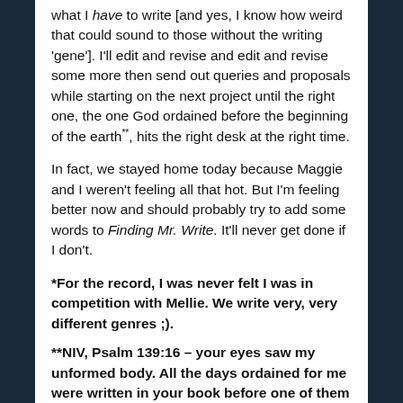what I have to write [and yes, I know how weird that could sound to those without the writing 'gene']. I'll edit and revise and edit and revise some more then send out queries and proposals while starting on the next project until the right one, the one God ordained before the beginning of the earth**, hits the right desk at the right time.
In fact, we stayed home today because Maggie and I weren't feeling all that hot. But I'm feeling better now and should probably try to add some words to Finding Mr. Write. It'll never get done if I don't.
*For the record, I was never felt I was in competition with Mellie. We write very, very different genres ;).
**NIV, Psalm 139:16 – your eyes saw my unformed body. All the days ordained for me were written in your book before one of them came to be.